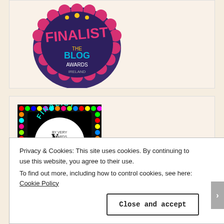[Figure (illustration): Partial view of a 'Finalist - The Blog Awards Ireland' badge with colorful text on dark background, partially visible at top of page]
[Figure (illustration): Square badge with multicolored dotted border pattern on black background, featuring a speech bubble logo with 'by Very Awards blog Ireland 2017' text and 'FINALIST' in cyan arc at top]
[Figure (illustration): Partial view of another Finalist badge with red and gold coloring, cropped at bottom]
Privacy & Cookies: This site uses cookies. By continuing to use this website, you agree to their use. To find out more, including how to control cookies, see here: Cookie Policy
Close and accept